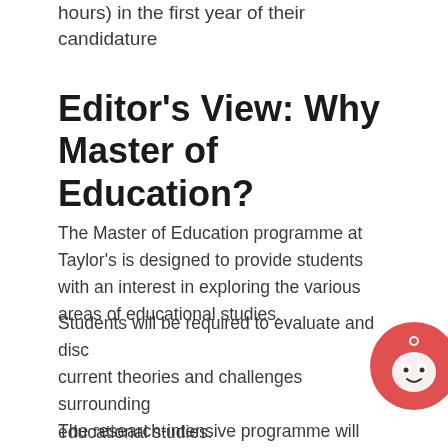hours) in the first year of their candidature
Editor's View: Why Master of Education?
The Master of Education programme at Taylor's is designed to provide students with an interest in exploring the various areas of educational studies.
Students will be required to evaluate and discuss current theories and challenges surrounding educational studies.
The research-intensive programme will help